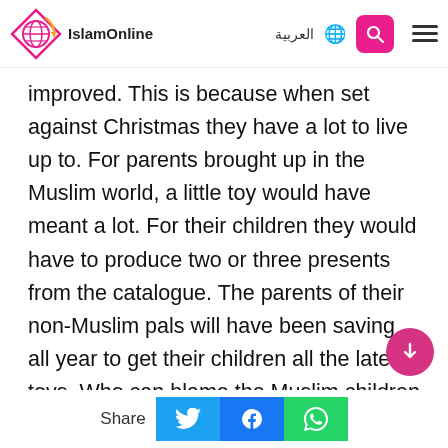IslamOnline | العربية
improved. This is because when set against Christmas they have a lot to live up to. For parents brought up in the Muslim world, a little toy would have meant a lot. For their children they would have to produce two or three presents from the catalogue. The parents of their non-Muslim pals will have been saving all year to get their children all the latest toys. Who can blame the Muslim children for being materialistic when